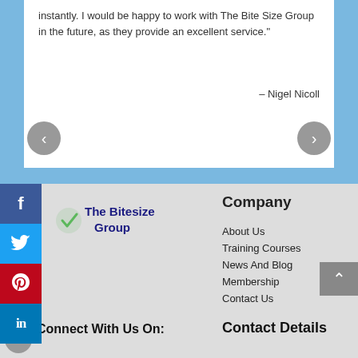instantly. I would be happy to work with The Bite Size Group in the future, as they provide an excellent service.”
– Nigel Nicoll
[Figure (logo): The Bitesize Group logo with green checkmark]
Company
About Us
Training Courses
News And Blog
Membership
Contact Us
Connect With Us On:
Contact Details